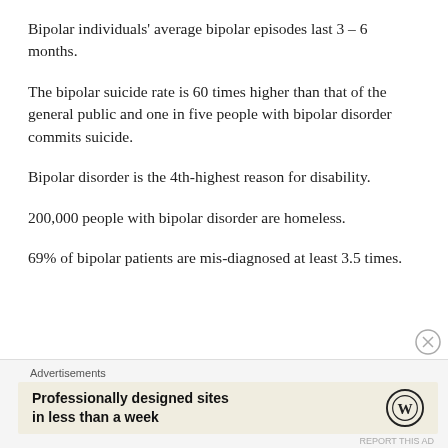Bipolar individuals' average bipolar episodes last 3 – 6 months.
The bipolar suicide rate is 60 times higher than that of the general public and one in five people with bipolar disorder commits suicide.
Bipolar disorder is the 4th-highest reason for disability.
200,000 people with bipolar disorder are homeless.
69% of bipolar patients are mis-diagnosed at least 3.5 times.
Advertisements
Professionally designed sites in less than a week